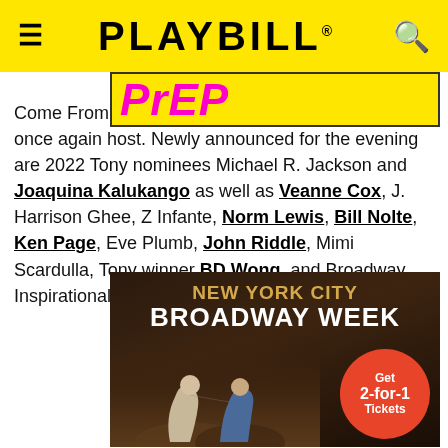PLAYBILL
[Figure (advertisement): PrEP advertisement banner with yellow background and pink/magenta bold italic text reading PrEP]
Come From Away Tony nominee Jenn Colella will once again host. Newly announced for the evening are 2022 Tony nominees Michael R. Jackson and Joaquina Kalukango as well as Veanne Cox, J. Harrison Ghee, Z Infante, Norm Lewis, Bill Nolte, Ken Page, Eve Plumb, John Riddle, Mimi Scardulla, Tony winner BD Wong, and Broadway Inspirational Voices.
[Figure (advertisement): New York City Broadway Week advertisement with dark brown background showing two actors leaning toward each other, gold and white text reading NEW YORK CITY BROADWAY WEEK, and a red circle with Get 2-for-1 Tickets]